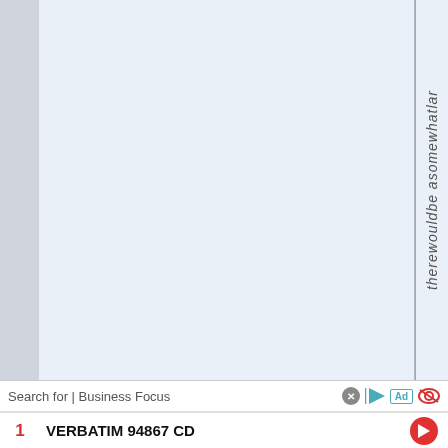[Figure (screenshot): Document viewer showing a page with a left grey sidebar, a main light blue content panel, and a narrow column with vertical italic text reading 'therewouldbe asomewhatlar' rotated 90 degrees]
Search for | Business Focus
1   VERBATIM 94867 CD